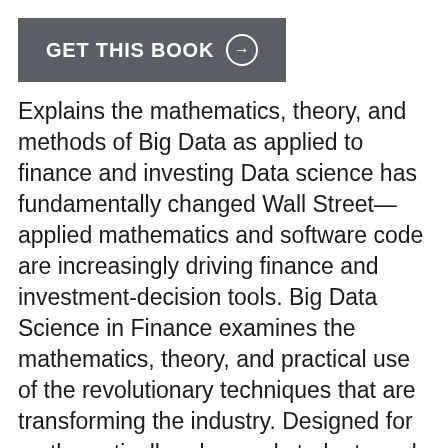[Figure (other): Dark grey button with text 'GET THIS BOOK' and a circled arrow icon]
Explains the mathematics, theory, and methods of Big Data as applied to finance and investing Data science has fundamentally changed Wall Street—applied mathematics and software code are increasingly driving finance and investment-decision tools. Big Data Science in Finance examines the mathematics, theory, and practical use of the revolutionary techniques that are transforming the industry. Designed for mathematically-advanced students and discerning financial practitioners alike, this energizing book presents new, cutting-edge content based on world-class research taught in the leading Financial